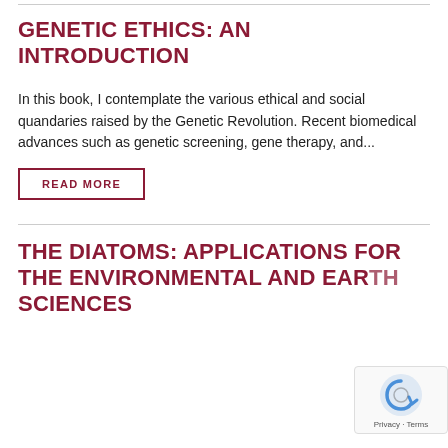GENETIC ETHICS: AN INTRODUCTION
In this book, I contemplate the various ethical and social quandaries raised by the Genetic Revolution. Recent biomedical advances such as genetic screening, gene therapy, and...
READ MORE
THE DIATOMS: APPLICATIONS FOR THE ENVIRONMENTAL AND EARTH SCIENCES